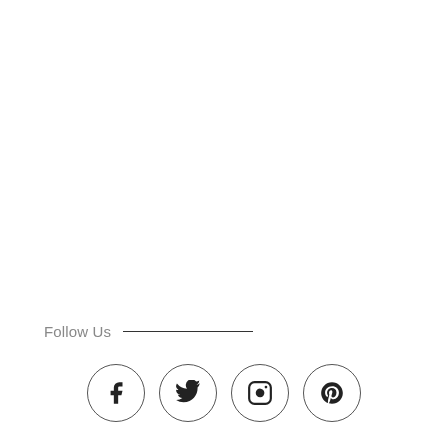Follow Us
[Figure (illustration): Four social media icons in circles: Facebook, Twitter, Instagram, Pinterest]